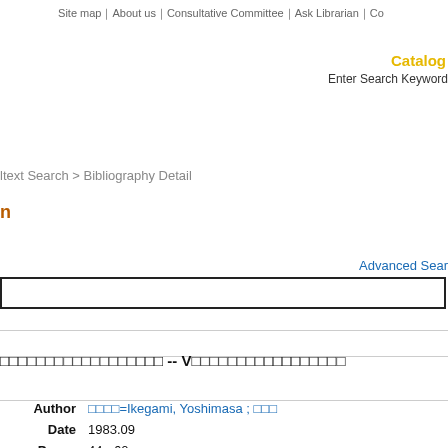Site map｜About us｜Consultative Committee｜Ask Librarian｜Co
Catalog
Enter Search Keyword
ltext Search > Bibliography Detail
n
Advanced Sear
| Field | Value |
| --- | --- |
| Author | 池上=Ikegami, Yoshimasa ; 池上 |
| Date | 1983.09 |
| Pages | 44 - 60 |